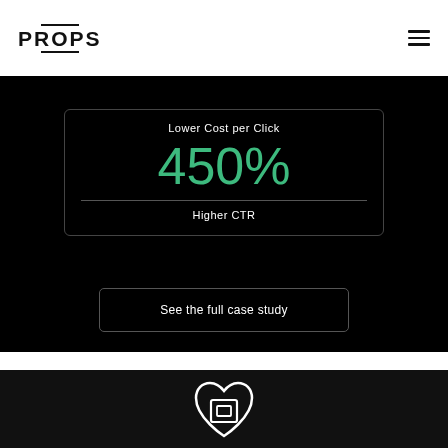[Figure (logo): PROPS logo with overline and underline decorations]
Lower Cost per Click
450%
Higher CTR
See the full case study
[Figure (illustration): Heart outline containing a square/screen icon, white on black background]